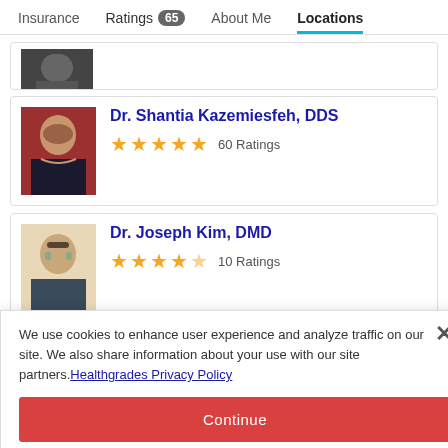Insurance   Ratings 65   About Me   Locations
[Figure (photo): Partial photo of a doctor at top of page]
Dr. Shantia Kazemiesfeh, DDS — 60 Ratings
Dr. Joseph Kim, DMD — 10 Ratings
We use cookies to enhance user experience and analyze traffic on our site. We also share information about your use with our site partners. Healthgrades Privacy Policy
Continue
Access my Privacy Preferences
17 Ratings (partial)